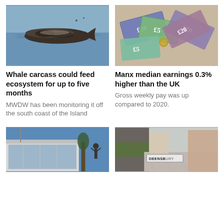[Figure (photo): A whale carcass floating in the sea, viewed from above/side]
[Figure (photo): A pile of British banknotes (£5 and £20 notes) scattered]
Whale carcass could feed ecosystem for up to five months
Manx median earnings 0.3% higher than the UK
MWDW has been monitoring it off the south coast of the Island
Gross weekly pay was up compared to 2020.
[Figure (photo): A modern building exterior with a sculpture of a figure, blue sky background]
[Figure (photo): A street scene showing a sign reading DEENSBURY (partially visible), buildings and pavement]